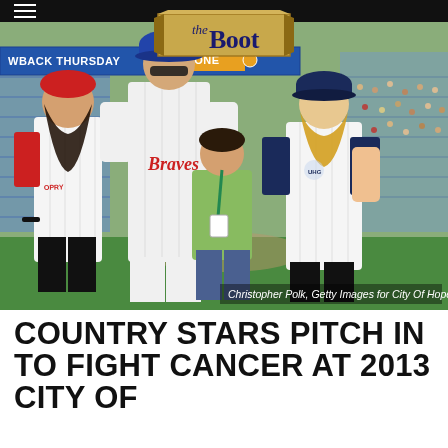[Figure (photo): Four people posing at a baseball stadium. From left: a young woman in a red cap and white pinstripe baseball jersey with 'Grand Ole Opry' text, a tall man in a Atlanta Braves jersey and blue cap with sunglasses, a young girl in a green shirt with a lanyard, and a blonde woman in a navy-accented white pinstripe jersey and navy cap. Stadium seating visible in background. A 'the Boot' logo banner visible at top. Hamburger menu icon top left. Photo credit: Christopher Polk, Getty Images for City Of Hope.]
Christopher Polk, Getty Images for City Of Hope
COUNTRY STARS PITCH IN TO FIGHT CANCER AT 2013 CITY OF